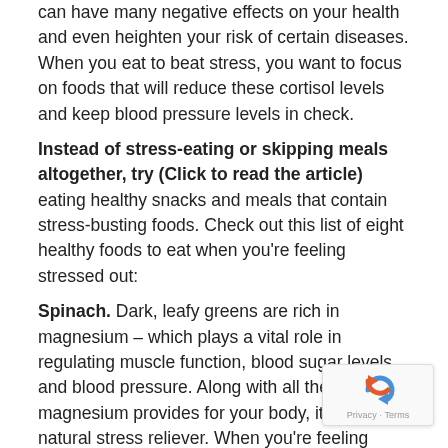can have many negative effects on your health and even heighten your risk of certain diseases. When you eat to beat stress, you want to focus on foods that will reduce these cortisol levels and keep blood pressure levels in check.
Instead of stress-eating or skipping meals altogether, try (Click to read the article) eating healthy snacks and meals that contain stress-busting foods. Check out this list of eight healthy foods to eat when you're feeling stressed out:
Spinach. Dark, leafy greens are rich in magnesium – which plays a vital role in regulating muscle function, blood sugar levels, and blood pressure. Along with all the benefits magnesium provides for your body, it acts as a natural stress reliever. When you're feeling overly stressed, a cup of spinach might be all it takes to feel an instant boost. Since not many of us are fans of eating plain spinach, try using the leafy green in a healthy green smoothie that get rid of belly fat, or a some into your morning make ahead eggs with this